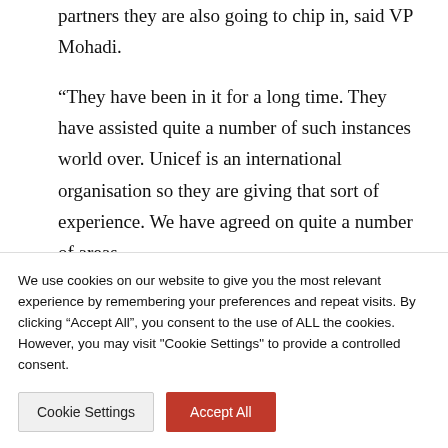partners they are also going to chip in, said VP Mohadi.
“They have been in it for a long time. They have assisted quite a number of such instances world over. Unicef is an international organisation so they are giving that sort of experience. We have agreed on quite a number of areas.
“They shall be meeting our committee on disaster she will also be meeting...
We use cookies on our website to give you the most relevant experience by remembering your preferences and repeat visits. By clicking “Accept All”, you consent to the use of ALL the cookies. However, you may visit "Cookie Settings" to provide a controlled consent.